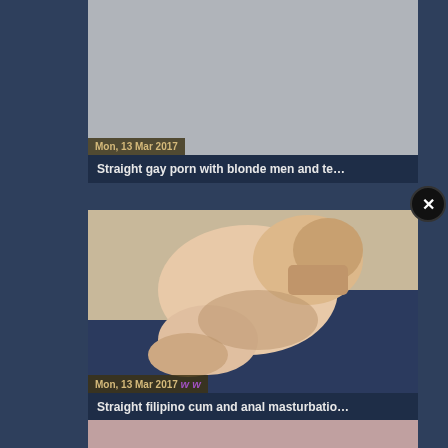[Figure (screenshot): Video thumbnail card 1: light grey placeholder thumbnail with date badge 'Mon, 13 Mar 2017' and title 'Straight gay porn with blonde men and te...']
[Figure (screenshot): Video thumbnail card 2: photo still with duration badge '08:00', date badge 'Mon, 13 Mar 2017' and title 'Straight filipino cum and anal masturbatio...']
[Figure (screenshot): Video thumbnail card 3: partially visible at bottom of page]